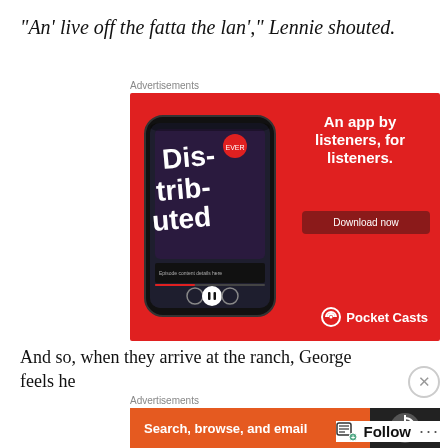“An’ live off the fatta the lan’,” Lennie shouted.
[Figure (illustration): Pocket Casts app advertisement on red background featuring a smartphone displaying the 'Dis-trib-uted' podcast, with headline 'An app by listeners, for listeners.' and a 'Download now' button and Pocket Casts logo.]
And so, when they arrive at the ranch, George feels he
[Figure (illustration): Advertisement banner showing 'Search, browse, and email' text on an orange background with a dark icon section on the right.]
Follow